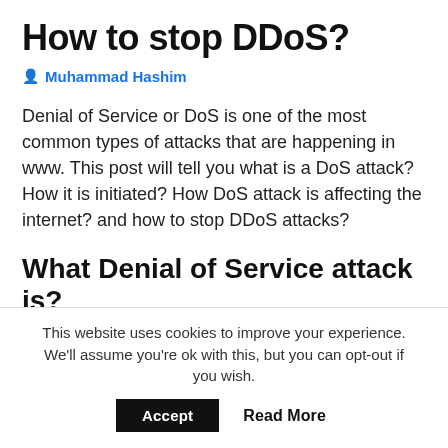How to stop DDoS?
Muhammad Hashim
Denial of Service or DoS is one of the most common types of attacks that are happening in www. This post will tell you what is a DoS attack? How it is initiated? How DoS attack is affecting the internet? and how to stop DDoS attacks?
What Denial of Service attack is?
Denial of Service or DoS attack pretty much defines it
This website uses cookies to improve your experience. We'll assume you're ok with this, but you can opt-out if you wish.
Accept   Read More